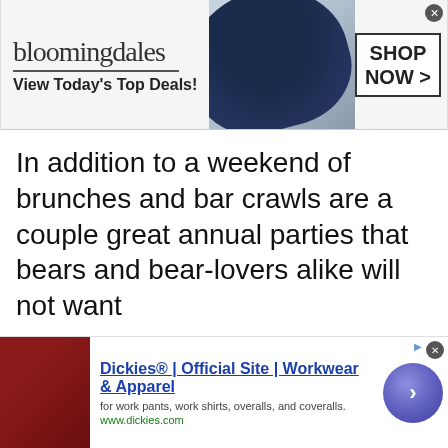[Figure (screenshot): Bloomingdale's advertisement banner showing logo, 'View Today's Top Deals!' tagline, model in wide-brim hat, and 'SHOP NOW >' button]
In addition to a weekend of brunches and bar crawls are a couple great annual parties that bears and bear-lovers alike will not want
to miss. Saturday night is the Boxers and Pajama Party, celebrating its 8th year at the hotel. Sunday night...
[Figure (screenshot): Cookie consent overlay: 'We use cookies. Yes, we use cookies to ensure we give you the best experience using this website. By closing this box or clicking on the continue button, you agree to our terms of use and consent to the use of']
[Figure (screenshot): Dickies advertisement: 'Dickies® | Official Site | Workwear & Apparel - for work pants, work shirts, overalls, and coveralls. www.dickies.com' with product image and arrow button]